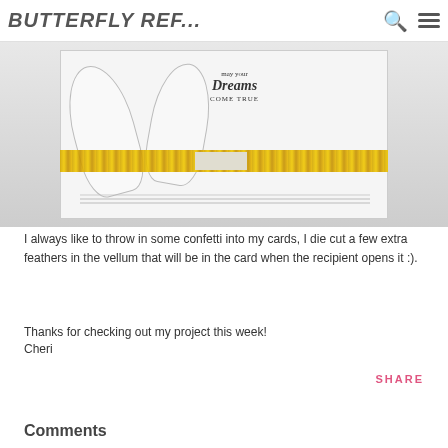BUTTERFLY REF...
[Figure (photo): A handmade greeting card with vellum feathers, gold glitter strip, and a stamp reading 'may your Dreams COME TRUE']
I always like to throw in some confetti into my cards, I die cut a few extra feathers in the vellum that will be in the card when the recipient opens it :).
Thanks for checking out my project this week!
Cheri
SHARE
Comments